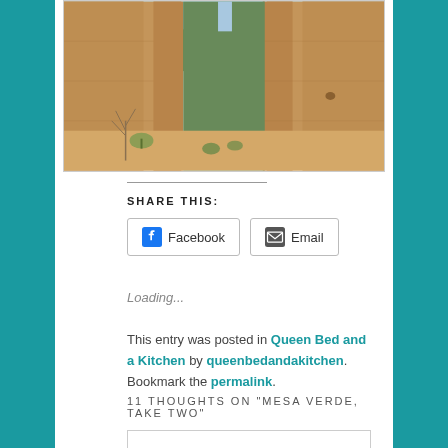[Figure (photo): Adobe ruins building with sandy mud brick walls, a narrow doorway opening in the center showing greenery and sky beyond, sparse desert plants at the base]
SHARE THIS:
Loading...
This entry was posted in Queen Bed and a Kitchen by queenbedandakitchen. Bookmark the permalink.
11 THOUGHTS ON "MESA VERDE, TAKE TWO"